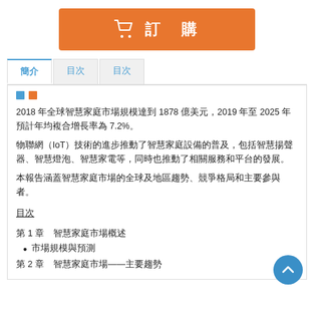[Figure (illustration): Orange button with shopping cart icon and Chinese text '訂購' (Order/Purchase)]
目次 (tabs: 簡介, 目次, 目次)
簡介
2018 年全球智慧家庭市場規模達到 1878 億美元，2019 年至 2025 年預計年均複合增長率為 7.2%。
物聯網（IoT）技術的進步推動了智慧家庭設備的普及，包括智慧揚聲器、智慧燈泡、智慧家電等，同時也推動了相關服務和平台的發展。
本報告涵蓋智慧家庭市場的全球及地區趨勢、競爭格局和主要參與者。
目次
第 1 章 智慧家庭市場概述
市場規模與預測
第 2 章 智慧家庭市場——主要趨勢